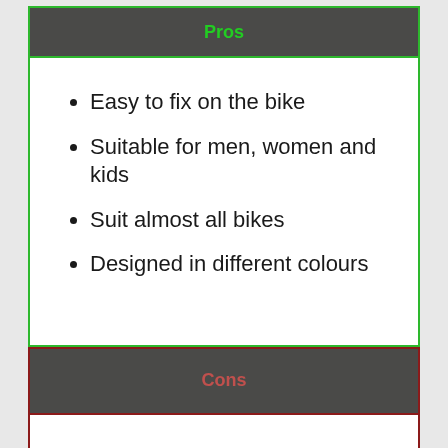Pros
Easy to fix on the bike
Suitable for men, women and kids
Suit almost all bikes
Designed in different colours
Cons